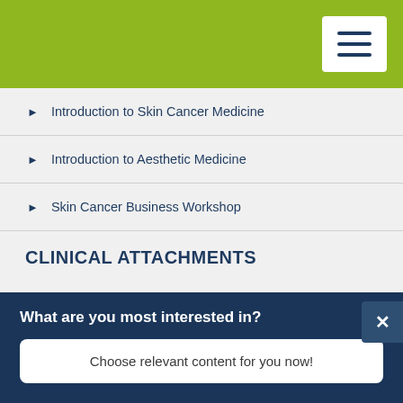[Figure (screenshot): Green header bar with hamburger menu icon (three horizontal lines) on white background in top right corner]
Introduction to Skin Cancer Medicine
Introduction to Aesthetic Medicine
Skin Cancer Business Workshop
CLINICAL ATTACHMENTS
Skin Cancer Medicine
Dermatology
Aesthetic Medicine
What are you most interested in?
Choose relevant content for you now!